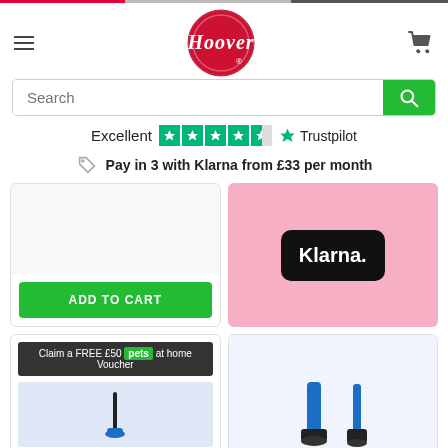[Figure (logo): Hoover brand logo – red circle with stylised H/Hoover wordmark and registered trademark symbol]
Search
Excellent   ★★★★½   Trustpilot
Pay in 3 with Klarna from £33 per month
[Figure (screenshot): ADD TO CART green button on a white product card]
[Figure (illustration): Klarna logo on pink background – black rounded rectangle with white Klarna. wordmark]
[Figure (screenshot): Claim a FREE £50 pets at home Voucher banner with vacuum cleaner product image]
[Figure (photo): Product card showing vacuum cleaner accessories/attachments in blue]